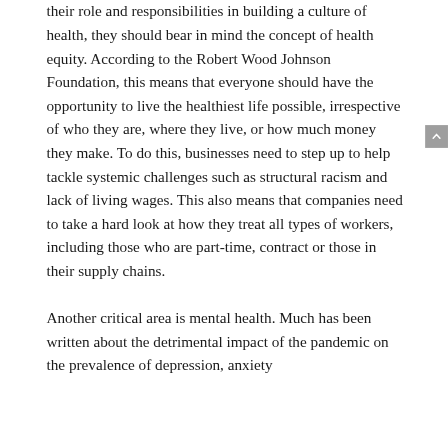their role and responsibilities in building a culture of health, they should bear in mind the concept of health equity. According to the Robert Wood Johnson Foundation, this means that everyone should have the opportunity to live the healthiest life possible, irrespective of who they are, where they live, or how much money they make. To do this, businesses need to step up to help tackle systemic challenges such as structural racism and lack of living wages. This also means that companies need to take a hard look at how they treat all types of workers, including those who are part-time, contract or those in their supply chains.
Another critical area is mental health. Much has been written about the detrimental impact of the pandemic on the prevalence of depression, anxiety